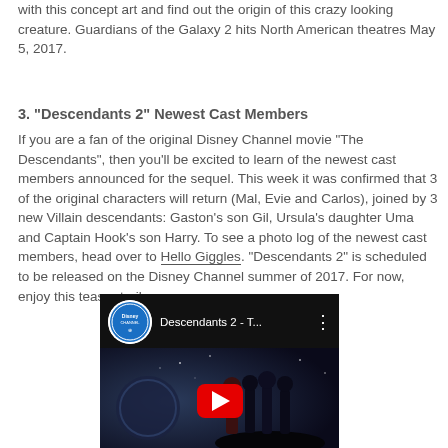with this concept art and find out the origin of this crazy looking creature. Guardians of the Galaxy 2 hits North American theatres May 5, 2017.
3. "Descendants 2" Newest Cast Members
If you are a fan of the original Disney Channel movie "The Descendants", then you'll be excited to learn of the newest cast members announced for the sequel. This week it was confirmed that 3 of the original characters will return (Mal, Evie and Carlos), joined by 3 new Villain descendants: Gaston's son Gil, Ursula's daughter Uma and Captain Hook's son Harry. To see a photo log of the newest cast members, head over to Hello Giggles. "Descendants 2" is scheduled to be released on the Disney Channel summer of 2017. For now, enjoy this teaser trailer:
[Figure (screenshot): YouTube video thumbnail for Descendants 2 teaser trailer, showing Disney Channel logo, video title 'Descendants 2 - T...', three dots menu, dark scene with cast members silhouetted, and red YouTube play button in center]